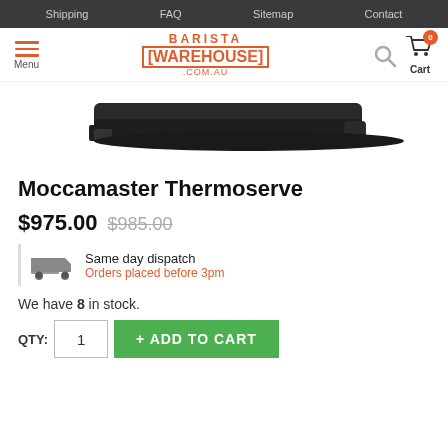Shipping  FAQ  Sitemap  Contact
[Figure (logo): Barista Warehouse .com.au logo with hamburger menu and cart icon]
[Figure (photo): Moccamaster Thermoserve product image - dark colored coffee brewer base/drip tray viewed from side]
Moccamaster Thermoserve
$975.00  $985.00
Same day dispatch
Orders placed before 3pm
We have 8 in stock.
QTY:  1  + ADD TO CART